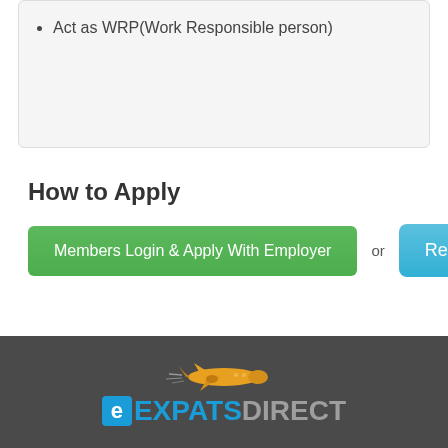Act as WRP(Work Responsible person)
How to Apply
Members Login & Apply With Employer  or  Register Here
[Figure (logo): ExpatsDirect logo with airplane graphic and the text eEXPATSDIRECT in blue and grey]
eEXPATSDIRECT